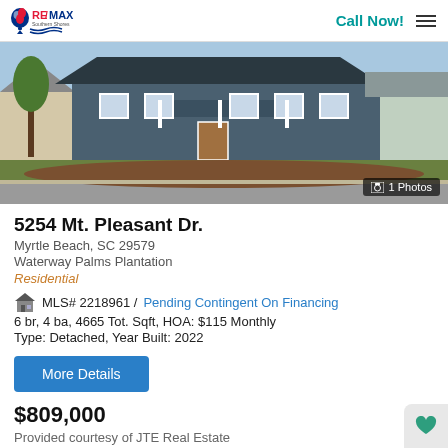RE/MAX | Call Now!
[Figure (photo): Front exterior of a newly built two-story craftsman-style home with dark blue-gray siding, white trim, front porch, and a graded dirt front yard. Adjacent homes visible on either side.]
1 Photos
5254 Mt. Pleasant Dr.
Myrtle Beach, SC 29579
Waterway Palms Plantation
Residential
MLS# 2218961 / Pending Contingent On Financing
6 br, 4 ba, 4665 Tot. Sqft, HOA: $115 Monthly
Type: Detached, Year Built: 2022
More Details
$809,000
Provided courtesy of JTE Real Estate